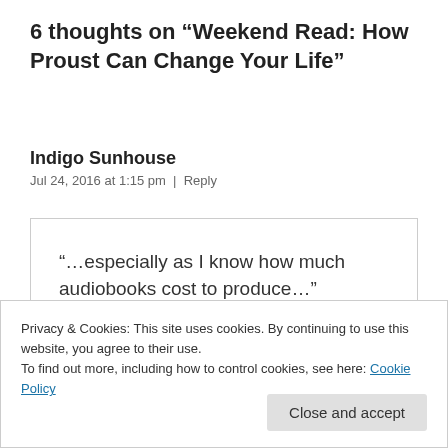6 thoughts on “Weekend Read: How Proust Can Change Your Life”
Indigo Sunhouse
Jul 24, 2016 at 1:15 pm | Reply
“…especially as I know how much audiobooks cost to produce…”
Privacy & Cookies: This site uses cookies. By continuing to use this website, you agree to their use.
To find out more, including how to control cookies, see here: Cookie Policy
Close and accept